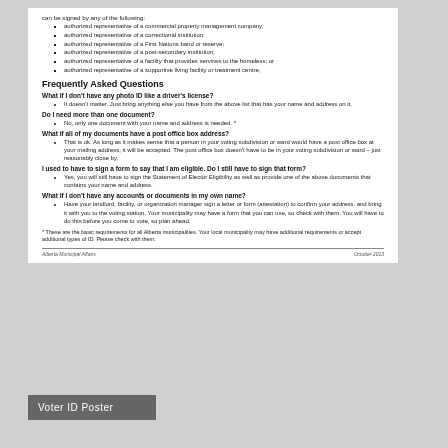can be signed by any of the following:
authorized representative of a commercial property management company;
authorized representative of a correctional institution;
authorized representative of a First Nations band or reserve;
authorized representative of a post-secondary institution;
authorized representative of a facility that provides services to the homeless; or
authorized representative of a supportive living facility or treatment centre;
Frequently Asked Questions
What if I don't have any photo ID like a driver's license?
It doesn't matter. Just bring anything else you have from the above list that has your name and address on it.
Do I need more than one document?
No, only one document with your name and address is needed. *
What if all of my documents have a post office box address?
That is ok. As long as it makes sense that a person in your voting subdivision or ward would have a post office box at your mailing address, it will be accepted. The post office box doesn't have to be in your voting subdivision or ward – just reasonably close by.
I used to have to sign a form to say that I am eligible.  Do I still have to sign that form?
Yes, you will still have to sign the Statement of Elector Eligibility as well as provide one of the above documents that contains your name and address.
What if I don't have any accounts or documents in my own name?
Have your landlord, facility, or organization manager sign a letter or form (attestation) to confirm your address, and bring it with you to the voting station. Your municipality may have a form that you can use, so check with them. You will have to do this before you come to vote, so plan ahead.
* These are the basic requirements for all Alberta municipalities. Your local municipality may have additional requirements or accept additional types of ID.  Please check with them.
Alberta Municipal Affairs                                                                        October 2013
Voter ID Poster